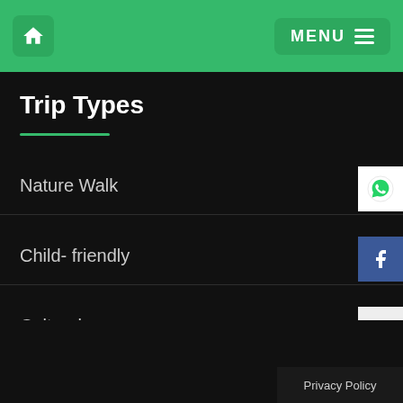Home | MENU
Trip Types
Nature Walk
Child- friendly
Cultural
Copyright by : PRESTINE 2022 | Contact us | Privacy Policy